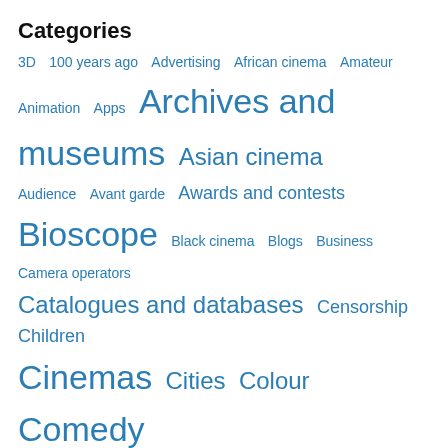Categories
3D  100 years ago  Advertising  African cinema  Amateur  Animation  Apps  Archives and museums  Asian cinema  Audience  Avant garde  Awards and contests  Bioscope  Black cinema  Blogs  Business  Camera operators  Catalogues and databases  Censorship  Children  Cinemas  Cities  Colour  Comedy  Conferences  Countries  Crime  Criticism and theory  Dance  Deaf cinema  Digitised journals  Distribution  Documents  DVD and Blu-Ray  Editing  Education  Events  Exhibitions  Fantasy and horror  Festivals  Film Archives  Filmmakers  Filmographies  General  Horror  Images  Interviews  Latin American film  Law  Literature  Lost films  Magic lanterns